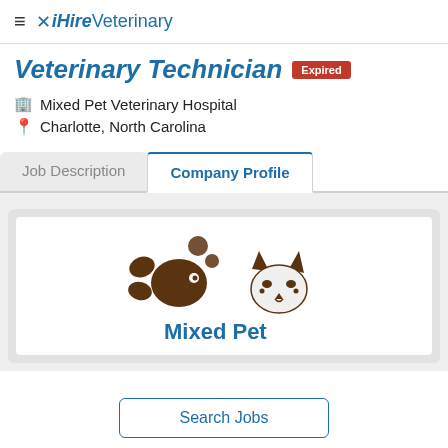iHireVeterinary
Veterinary Technician  [Expired]
Mixed Pet Veterinary Hospital
Charlotte, North Carolina
Company Profile
[Figure (logo): Mixed Pet Veterinary Hospital logo showing stylized fish and cat silhouettes in brown, with 'Mixed Pet' text in blue below]
Search Jobs